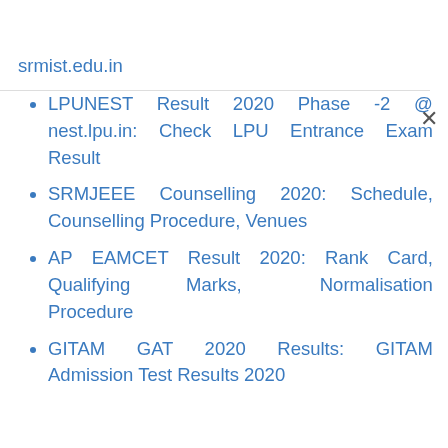srmist.edu.in
LPUNEST Result 2020 Phase -2 @ nest.lpu.in: Check LPU Entrance Exam Result
SRMJEEE Counselling 2020: Schedule, Counselling Procedure, Venues
AP EAMCET Result 2020: Rank Card, Qualifying Marks, Normalisation Procedure
GITAM GAT 2020 Results: GITAM Admission Test Results 2020